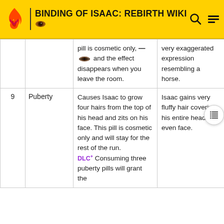BINDING OF ISAAC: REBIRTH WIKI
| # | Name | Effect | Appearance |
| --- | --- | --- | --- |
|  |  | pill is cosmetic only, ~~[icon]~~ and the effect disappears when you leave the room. | very exaggerated expression resembling a horse. |
| 9 | Puberty | Causes Isaac to grow four hairs from the top of his head and zits on his face. This pill is cosmetic only and will stay for the rest of the run. DLC+ Consuming three puberty pills will grant the | Isaac gains very fluffy hair covering his entire head and even face. |